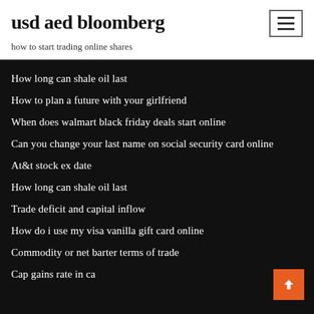usd aed bloomberg
how to start trading online shares
How long can shale oil last
How to plan a future with your girlfriend
When does walmart black friday deals start online
Can you change your last name on social security card online
At&t stock ex date
How long can shale oil last
Trade deficit and capital inflow
How do i use my visa vanilla gift card online
Commodity or net barter terms of trade
Cap gains rate in ca